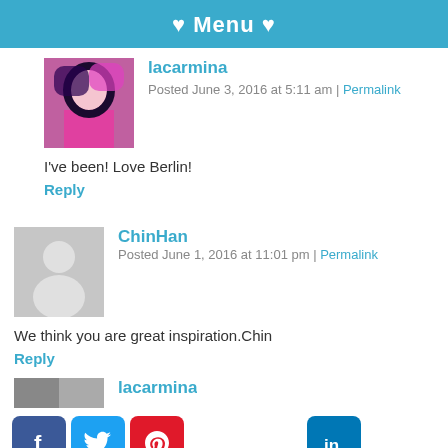♥ Menu ♥
lacarmina
Posted June 3, 2016 at 5:11 am | Permalink
I've been! Love Berlin!
Reply
ChinHan
Posted June 1, 2016 at 11:01 pm | Permalink
We think you are great inspiration.Chin
Reply
lacarmina